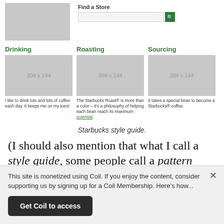[Figure (screenshot): Logo placeholder image (gray rectangle)]
Find a Store
[Figure (screenshot): Search input box with green search button]
Drinking
Roasting
Sourcing
[Figure (photo): Gray placeholder image 304 x 144]
[Figure (photo): Gray placeholder image 304 x 144]
[Figure (photo): Gray placeholder image 304 x 144]
I like to drink lots and lots of coffee each day. It keeps me on my toes!
The Starbucks Roast® is more than a color – it’s a philosophy of helping each bean reach its maximum potential.
It takes a special bean to become a Starbucks® coffee.
Starbucks style guide.
(I should also mention that what I call a style guide, some people call a pattern library. Many of the guides I reference use the term style guide, but pattern library is
This site is monetized using Coil. If you enjoy the content, consider supporting us by signing up for a Coil Membership. Here’s how...
Get Coil to access